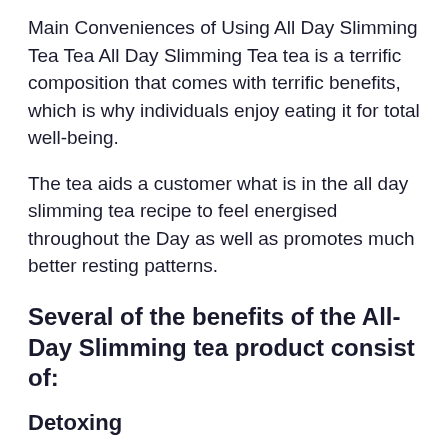Main Conveniences of Using All Day Slimming Tea Tea All Day Slimming Tea tea is a terrific composition that comes with terrific benefits, which is why individuals enjoy eating it for total well-being.
The tea aids a customer what is in the all day slimming tea recipe to feel energised throughout the Day as well as promotes much better resting patterns.
Several of the benefits of the All-Day Slimming tea product consist of:
Detoxing